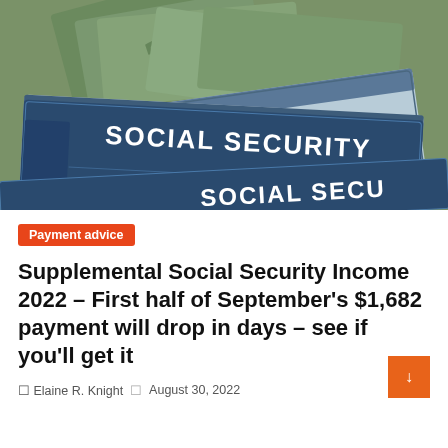[Figure (photo): Close-up photo of two blue Social Security cards with US currency (20 dollar bills) fanned out in the background. The cards clearly show the text 'SOCIAL SECURITY' in raised letters.]
Payment advice
Supplemental Social Security Income 2022 – First half of September's $1,682 payment will drop in days – see if you'll get it
Elaine R. Knight  |  August 30, 2022